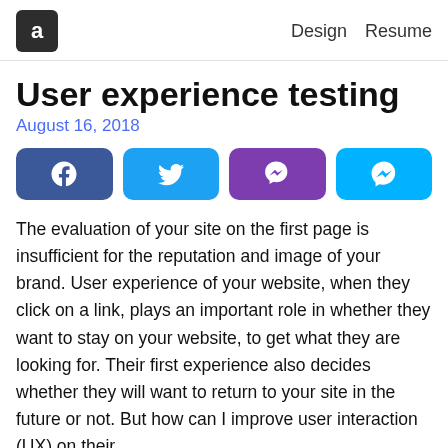a | Design  Resume
User experience testing
August 16, 2018
[Figure (infographic): Four social share buttons: Facebook, Twitter, Viber, Messenger]
The evaluation of your site on the first page is insufficient for the reputation and image of your brand. User experience of your website, when they click on a link, plays an important role in whether they want to stay on your website, to get what they are looking for. Their first experience also decides whether they will want to return to your site in the future or not. But how can I improve user interaction (UX) on their